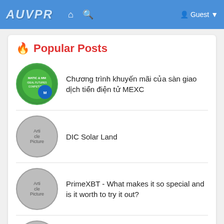AUVPR  🏠  🔍  Guest
🔥 Popular Posts
Chương trình khuyến mãi của sàn giao dịch tiền điện tử MEXC
DIC Solar Land
PrimeXBT - What makes it so special and is it worth to try it out?
http://139.180.187.232/
Looking back Unit 7 lớp 6